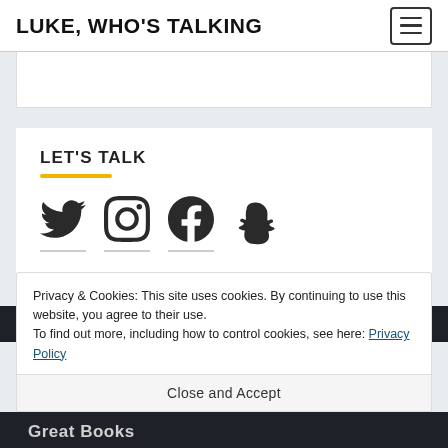LUKE, WHO'S TALKING
LET'S TALK
[Figure (illustration): Social media icons row: Twitter bird, Instagram camera, Facebook 'f', Snapchat ghost]
Privacy & Cookies: This site uses cookies. By continuing to use this website, you agree to their use.
To find out more, including how to control cookies, see here: Privacy Policy
Close and Accept
Great Books